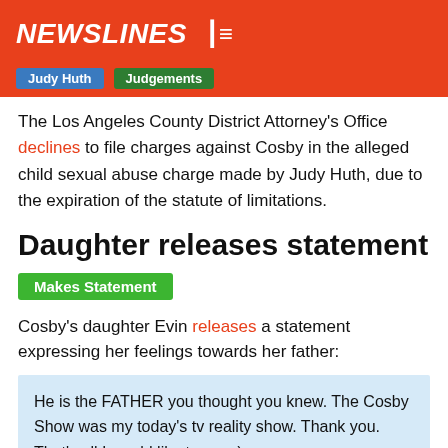NEWSLINES
Judy Huth  Judgements
The Los Angeles County District Attorney's Office declines to file charges against Cosby in the alleged child sexual abuse charge made by Judy Huth, due to the expiration of the statute of limitations.
Daughter releases statement
Makes Statement
Cosby's daughter Evin releases a statement expressing her feelings towards her father:
He is the FATHER you thought you knew. The Cosby Show was my today's tv reality show. Thank you. That's all I would like to say :),
15 Dec, 2014
The View interview